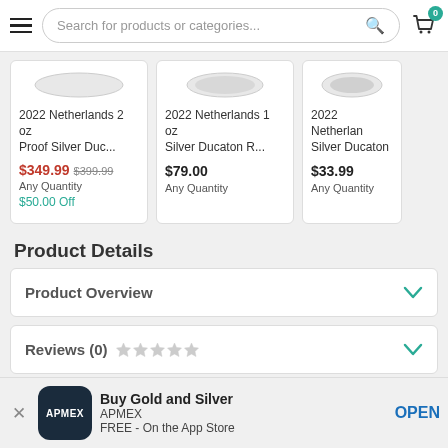[Figure (screenshot): E-commerce website screenshot showing navigation bar with hamburger menu, search bar, and cart icon with badge showing 0]
[Figure (screenshot): Product card: 2022 Netherlands 2 oz Proof Silver Duc... priced at $349.99 (was $399.99), Any Quantity, $50.00 Off]
[Figure (screenshot): Product card: 2022 Netherlands 1 oz Silver Ducaton R... priced at $79.00, Any Quantity]
[Figure (screenshot): Product card: 2022 Netherlands Silver Ducaton priced at $33.99, Any Quantity (partially visible)]
Product Details
Product Overview
Reviews (0)
[Figure (infographic): APMEX app banner: Buy Gold and Silver, APMEX, FREE - On the App Store, with OPEN button]